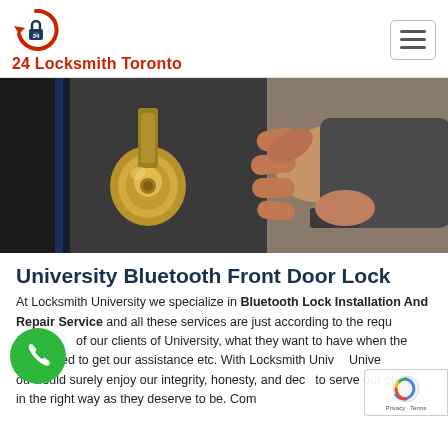[Figure (logo): 24 Locksmith Toronto logo: circular arrow icon with padlock showing '24', and bold red text '24 Locksmith Toronto']
[Figure (photo): Close-up photo of a hand gripping a brass/gold door handle or lock on a dark door]
University Bluetooth Front Door Lock
At Locksmith University we specialize in Bluetooth Lock Installation And Repair Service and all these services are just according to the requirements of our clients of University, what they want to have when they needed to get our assistance etc. With Locksmith University you would surely enjoy our integrity, honesty, and dedication to serve our clients in the right way as they deserve to be. Complete our services aiming for top locksmith to in it in to in a in